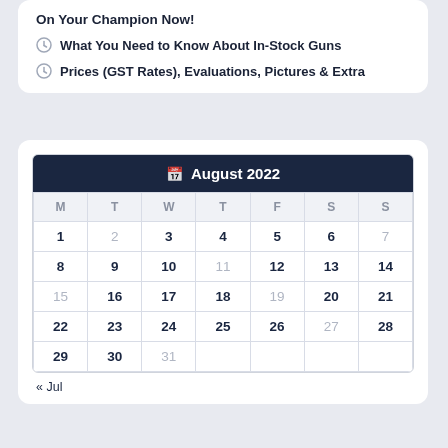On Your Champion Now!
What You Need to Know About In-Stock Guns
Prices (GST Rates), Evaluations, Pictures & Extra
| M | T | W | T | F | S | S |
| --- | --- | --- | --- | --- | --- | --- |
| 1 | 2 | 3 | 4 | 5 | 6 | 7 |
| 8 | 9 | 10 | 11 | 12 | 13 | 14 |
| 15 | 16 | 17 | 18 | 19 | 20 | 21 |
| 22 | 23 | 24 | 25 | 26 | 27 | 28 |
| 29 | 30 | 31 |  |  |  |  |
« Jul